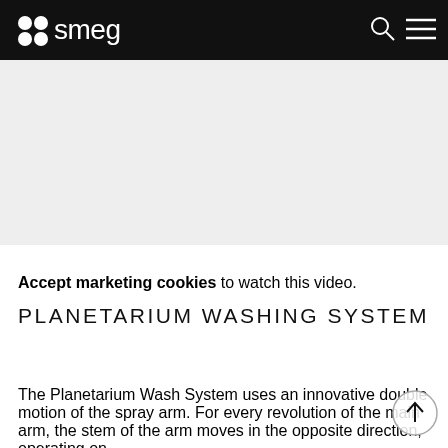smeg
[Figure (other): Video placeholder area with light gray background, content blocked pending cookie acceptance]
Accept marketing cookies to watch this video.
PLANETARIUM WASHING SYSTEM
The Planetarium Wash System uses an innovative double motion of the spray arm. For every revolution of the main arm, the stem of the arm moves in the opposite direction, operating on